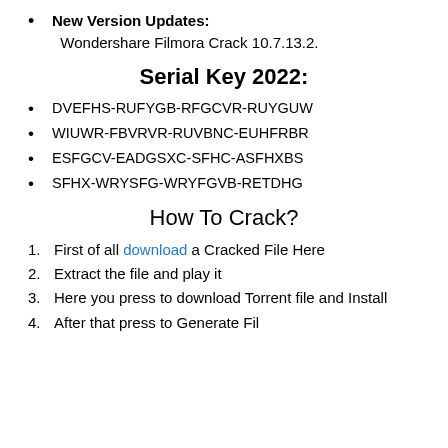New Version Updates: Wondershare Filmora Crack 10.7.13.2.
Serial Key 2022:
DVEFHS-RUFYGB-RFGCVR-RUYGUW
WIUWR-FBVRVR-RUVBNC-EUHFRBR
ESFGCV-EADGSXC-SFHC-ASFHXBS
SFHX-WRYSFG-WRYFGVB-RETDHG
How To Crack?
First of all download a Cracked File Here
Extract the file and play it
Here you press to download Torrent file and Install
After that press to Generate File